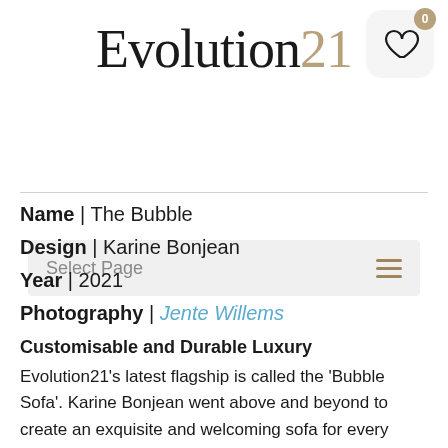Evolution21
Select Page
Name | The Bubble
Design | Karine Bonjean
Year | 2021
Photography | Jente Willems
Customisable and Durable Luxury
Evolution21's latest flagship is called the 'Bubble Sofa'. Karine Bonjean went above and beyond to create an exquisite and welcoming sofa for every family that cherishes togetherness.